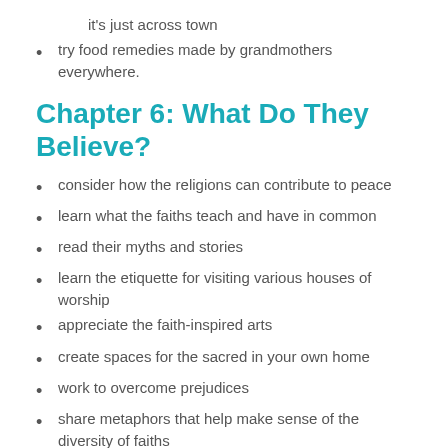it's just across town
try food remedies made by grandmothers everywhere.
Chapter 6: What Do They Believe?
consider how the religions can contribute to peace
learn what the faiths teach and have in common
read their myths and stories
learn the etiquette for visiting various houses of worship
appreciate the faith-inspired arts
create spaces for the sacred in your own home
work to overcome prejudices
share metaphors that help make sense of the diversity of faiths
get comfortable respectfully, openly sharing faith experiences with friends whose beliefs differ from your own.